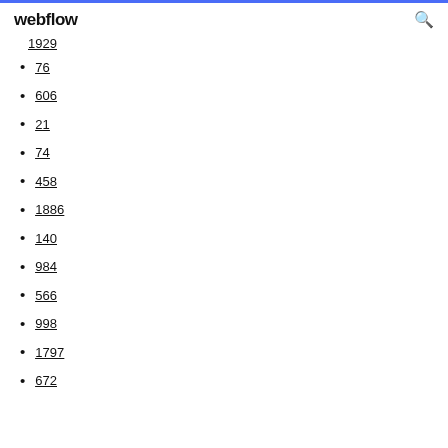webflow
1929
76
606
21
74
458
1886
140
984
566
998
1797
672